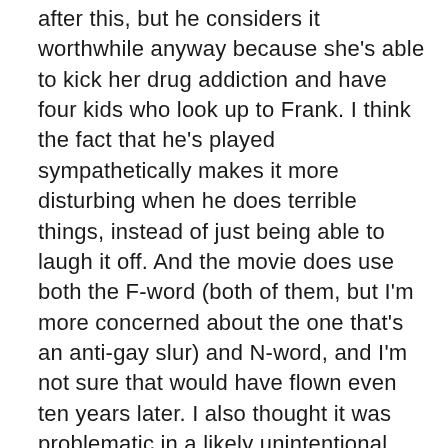after this, but he considers it worthwhile anyway because she's able to kick her drug addiction and have four kids who look up to Frank. I think the fact that he's played sympathetically makes it more disturbing when he does terrible things, instead of just being able to laugh it off. And the movie does use both the F-word (both of them, but I'm more concerned about the one that's an anti-gay slur) and N-word, and I'm not sure that would have flown even ten years later. I also thought it was problematic in a likely unintentional way that the only Black characters who weren't just extras were presented as hardened criminals. It just seems weird that this would be the case in a movie from only eleven years ago. From what I've read, it was made to push the envelope and break the usual rules, but it kind of ended up as a mess, if a sometimes entertaining mess.